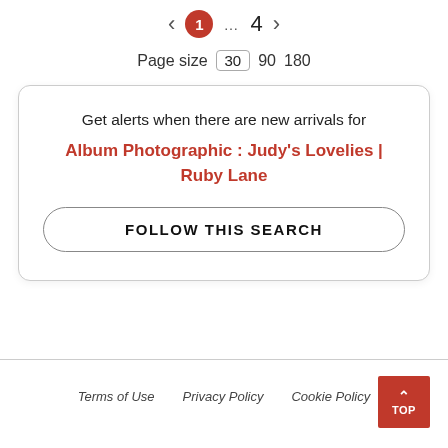[Figure (screenshot): Pagination navigation: left arrow, red circle with '1', ellipsis '...', '4', right arrow]
Page size 30 90 180
Get alerts when there are new arrivals for Album Photographic : Judy's Lovelies | Ruby Lane
FOLLOW THIS SEARCH
Terms of Use   Privacy Policy   Cookie Policy